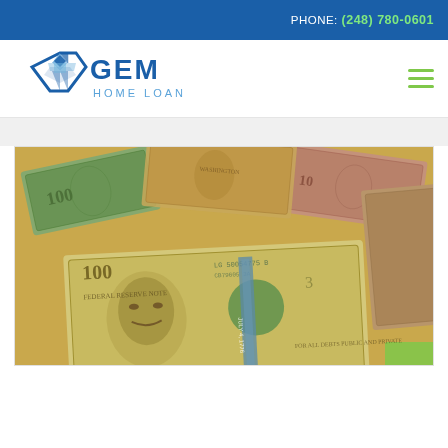PHONE: (248) 780-0601
[Figure (logo): GEM Home Loans logo — blue diamond/gem shape with 'GEM HOME LOANS' text in blue]
[Figure (photo): Close-up photograph of scattered US dollar bills including $100 bills showing Benjamin Franklin's portrait, various denominations overlapping]